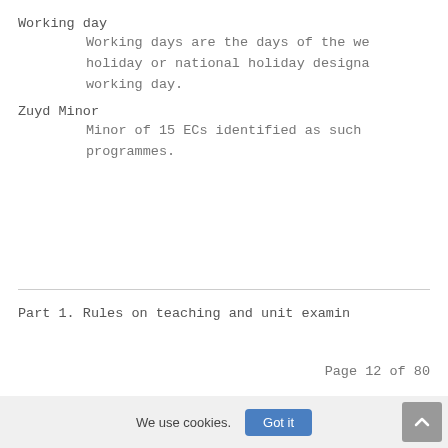Working day
    Working days are the days of the week that are not a weekend, public holiday or national holiday designated as such by the Government, unless the Government has designated that day as a working day.
Zuyd Minor
    Minor of 15 ECs identified as such by the Board of Governors in Zuyd programmes.
Part 1. Rules on teaching and unit examinations
Page 12 of 80